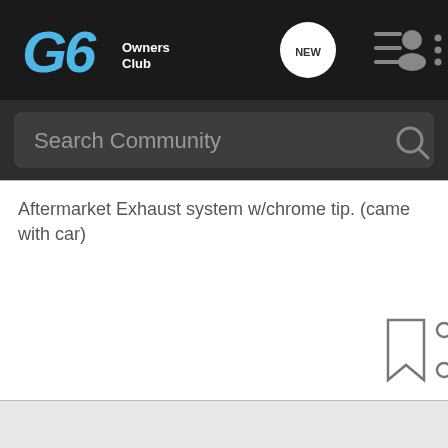[Figure (screenshot): G6 Owners Club navigation bar with logo, NEW chat icon, list icon, user icon, and more (three dots) icon on dark background]
[Figure (screenshot): Search Community search bar on dark grey background with magnifying glass icon]
Aftermarket Exhaust system w/chrome tip. (came with car)
[Figure (screenshot): Bookmark and share icons in grey on white background]
[Figure (screenshot): Light grey empty area below content]